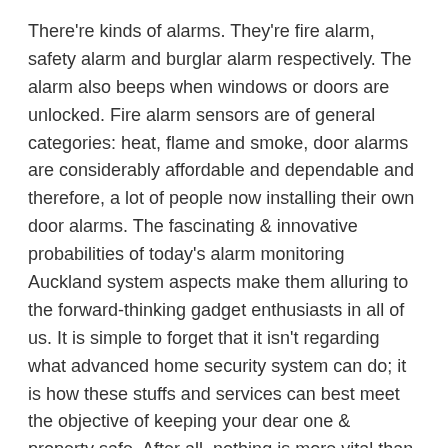There're kinds of alarms. They're fire alarm, safety alarm and burglar alarm respectively. The alarm also beeps when windows or doors are unlocked. Fire alarm sensors are of general categories: heat, flame and smoke, door alarms are considerably affordable and dependable and therefore, a lot of people now installing their own door alarms. The fascinating & innovative probabilities of today's alarm monitoring Auckland system aspects make them alluring to the forward-thinking gadget enthusiasts in all of us. It is simple to forget that it isn't regarding what advanced home security system can do; it is how these stuffs and services can best meet the objective of keeping your dear one & property safe. After all, nothing is more vital than safeguarding your home & family.
There are many home security system providers offering great deals on their security products. Choose Security